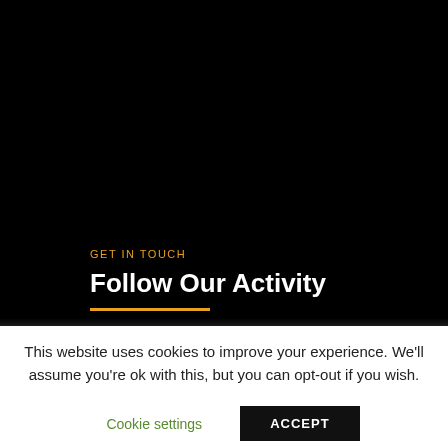[Figure (photo): Black background section — dark/night image area, mostly black]
GET IN TOUCH
Follow Our Activity
This website uses cookies to improve your experience. We'll assume you're ok with this, but you can opt-out if you wish.
Cookie settings   ACCEPT